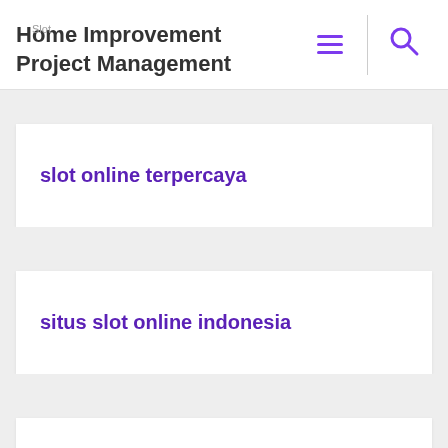Home Improvement Project Management
slot online terpercaya
situs slot online indonesia
Rtp Slot